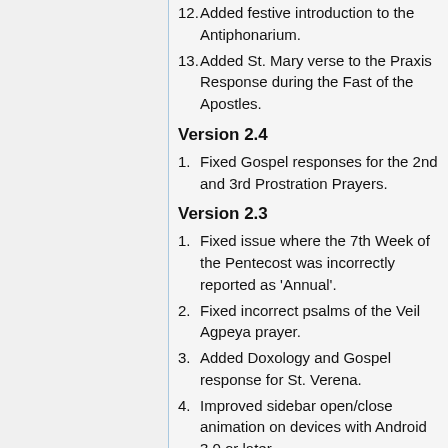12. Added festive introduction to the Antiphonarium.
13. Added St. Mary verse to the Praxis Response during the Fast of the Apostles.
Version 2.4
1. Fixed Gospel responses for the 2nd and 3rd Prostration Prayers.
Version 2.3
1. Fixed issue where the 7th Week of the Pentecost was incorrectly reported as 'Annual'.
2. Fixed incorrect psalms of the Veil Agpeya prayer.
3. Added Doxology and Gospel response for St. Verena.
4. Improved sidebar open/close animation on devices with Android 3.0 or later.